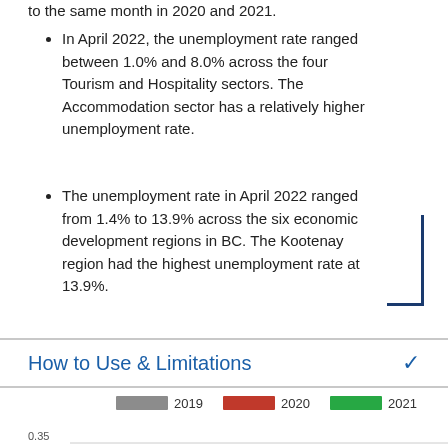to the same month in 2020 and 2021.
In April 2022, the unemployment rate ranged between 1.0% and 8.0% across the four Tourism and Hospitality sectors. The Accommodation sector has a relatively higher unemployment rate.
The unemployment rate in April 2022 ranged from 1.4% to 13.9% across the six economic development regions in BC. The Kootenay region had the highest unemployment rate at 13.9%.
How to Use & Limitations
[Figure (line-chart): Chart legend showing 2019 (gray), 2020 (red), 2021 (green), 2022 (blue) with y-axis starting at 0.35]